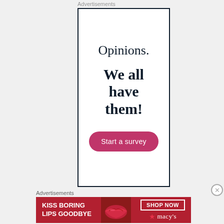Advertisements
[Figure (infographic): Advertisement banner with white background and dark navy border. Text reads 'Opinions.' in serif font, followed by bold text 'We all have them!' and a pink/magenta 'Start a survey' button.]
Advertisements
[Figure (infographic): Red banner advertisement for Macy's lipstick. Text reads 'KISS BORING LIPS GOODBYE' with a 'SHOP NOW' button and Macy's star logo on the right. Center shows a close-up photo of lips.]